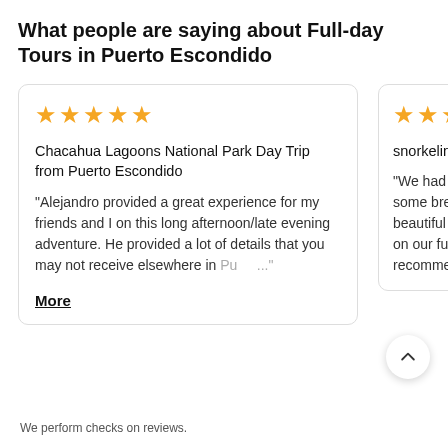What people are saying about Full-day Tours in Puerto Escondido
5 stars
Chacahua Lagoons National Park Day Trip from Puerto Escondido
"Alejandro provided a great experience for my friends and I on this long afternoon/late evening adventure. He provided a lot of details that you may not receive elsewhere in Pu… ..."
More
4.5 stars
snorkeling
"We had a some brea beautiful to on our futu recommen
We perform checks on reviews.